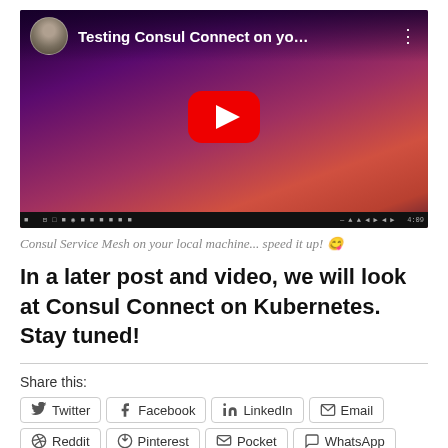[Figure (screenshot): YouTube video thumbnail showing 'Testing Consul Connect on yo...' with a purple/pink sunset background and a red YouTube play button. A circular avatar and video title are visible in the top bar, with a Windows taskbar at the bottom.]
Consul Service Mesh on your local machine... speed it up! 😋
In a later post and video, we will look at Consul Connect on Kubernetes. Stay tuned!
Share this:
Twitter
Facebook
LinkedIn
Email
Reddit
Pinterest
Pocket
WhatsApp